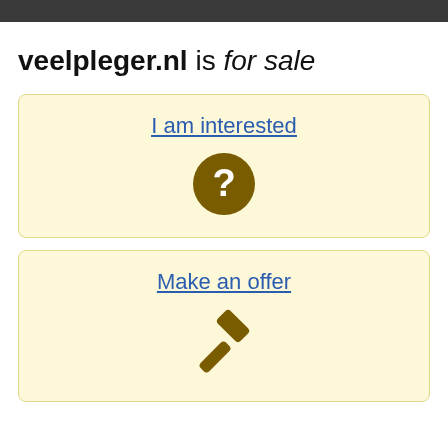veelpleger.nl is for sale
I am interested
[Figure (illustration): Dark golden circle with white question mark inside]
Make an offer
[Figure (illustration): Dark golden gavel/auction hammer icon]